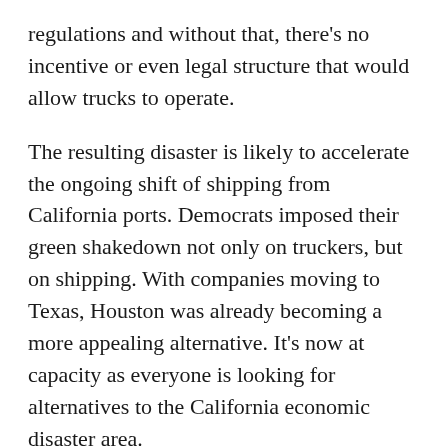regulations and without that, there's no incentive or even legal structure that would allow trucks to operate.
The resulting disaster is likely to accelerate the ongoing shift of shipping from California ports. Democrats imposed their green shakedown not only on truckers, but on shipping. With companies moving to Texas, Houston was already becoming a more appealing alternative. It's now at capacity as everyone is looking for alternatives to the California economic disaster area.
But much of our imports and exports still depend on the California bottleneck that begins with Communist China and ends in Communist